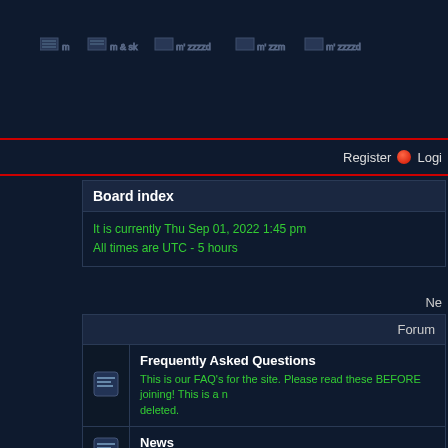[Figure (screenshot): Forum website header banner with navigation icons/flags on dark blue background]
Register  Login
Board index
It is currently Thu Sep 01, 2022 1:45 pm
All times are UTC - 5 hours
Ne
| Forum |
| --- |
| Frequently Asked Questions | This is our FAQ's for the site. Please read these BEFORE joining! This is a... deleted. |
| News | News and Happenings for Mythbusters Fan Club |